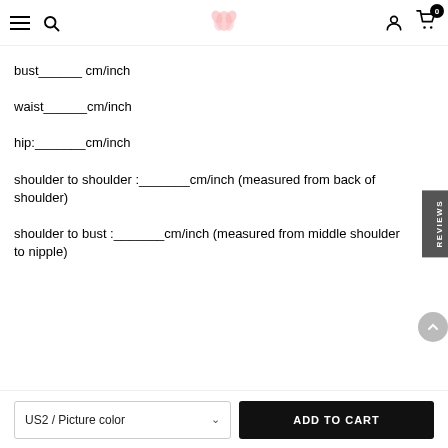Navigation bar with hamburger menu, search, logo, user icon, and cart (0)
bust______ cm/inch
waist______cm/inch
hip:_______cm/inch
shoulder to shoulder :_______cm/inch (measured from back of shoulder)
shoulder to bust :_______cm/inch (measured from middle shoulder to nipple)
US2 / Picture color
ADD TO CART